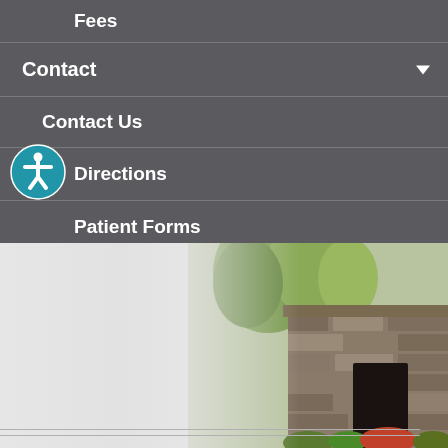Fees
Contact
Contact Us
Directions
Patient Forms
[Figure (photo): Exterior photo of a stone building with lush green trees and landscaping, showing a rustic stone wall facade with dark doorway and colorful flowering plants in the foreground. The left side fades to a light gray/white background.]